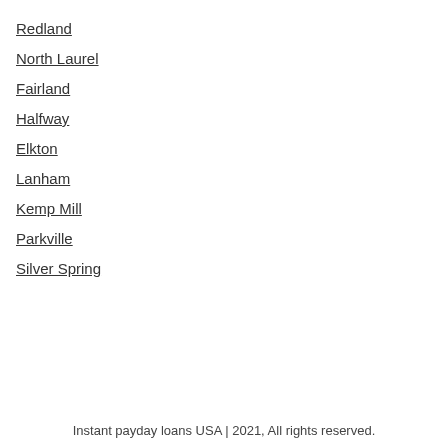Redland
North Laurel
Fairland
Halfway
Elkton
Lanham
Kemp Mill
Parkville
Silver Spring
Instant payday loans USA | 2021, All rights reserved.